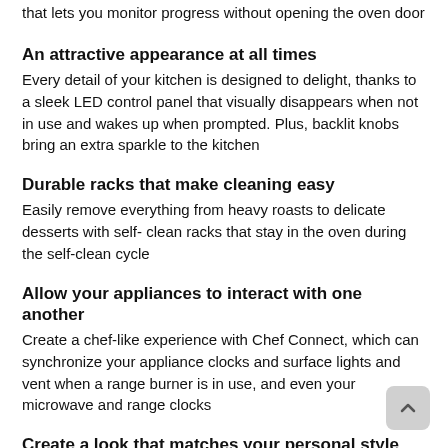that lets you monitor progress without opening the oven door
An attractive appearance at all times
Every detail of your kitchen is designed to delight, thanks to a sleek LED control panel that visually disappears when not in use and wakes up when prompted. Plus, backlit knobs bring an extra sparkle to the kitchen
Durable racks that make cleaning easy
Easily remove everything from heavy roasts to delicate desserts with self- clean racks that stay in the oven during the self-clean cycle
Allow your appliances to interact with one another
Create a chef-like experience with Chef Connect, which can synchronize your appliance clocks and surface lights and vent when a range burner is in use, and even your microwave and range clocks
Create a look that matches your personal style
Select any combination of premium finishes and hardware options to create a stunning look customized to any